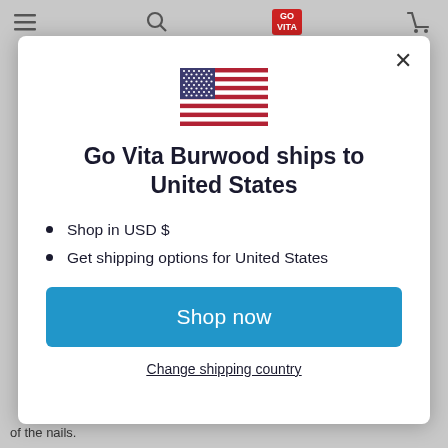[Figure (screenshot): Modal dialog overlay on a website. Background shows a gray website page with navigation icons. The modal is white with rounded corners and contains a US flag, heading, bullet points, a blue Shop now button, and a Change shipping country link.]
Go Vita Burwood ships to United States
Shop in USD $
Get shipping options for United States
Shop now
Change shipping country
of the nails.